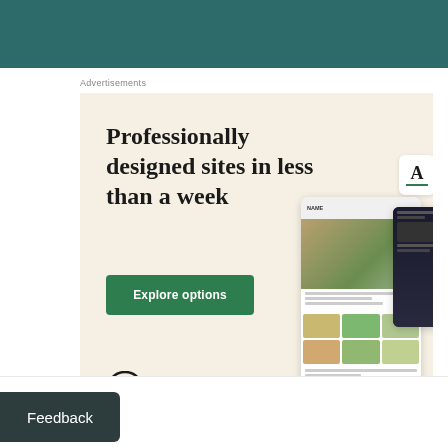[Figure (screenshot): Teal/dark green header bar at top of page, part of a website or app UI]
Advertisements
[Figure (illustration): WordPress advertisement banner with cream background. Headline: 'Professionally designed sites in less than a week'. Green 'Explore options' button. WordPress logo. Mock website screenshots on right side.]
REPORT THIS AD
[Figure (other): X (close) circle button]
Advertisements
[Figure (screenshot): Bottom WordPress ad bar: 'writing habit. the go.' with GET THE APP button and WordPress logo]
Feedback